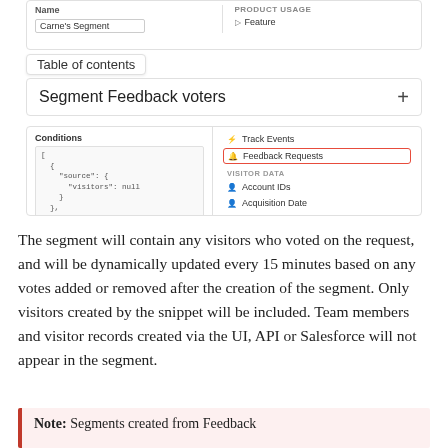[Figure (screenshot): UI screenshot showing a segment creation interface with 'Name' field showing 'Carne's Segment', Product Usage section with 'Feature', a 'Segment Feedback voters' header with a + button, Conditions panel with JSON code, and a dropdown menu showing Track Events, Feedback Requests (highlighted in red), Visitor Data with Account IDs and Acquisition Date]
The segment will contain any visitors who voted on the request, and will be dynamically updated every 15 minutes based on any votes added or removed after the creation of the segment. Only visitors created by the snippet will be included. Team members and visitor records created via the UI, API or Salesforce will not appear in the segment.
Note: Segments created from Feedback